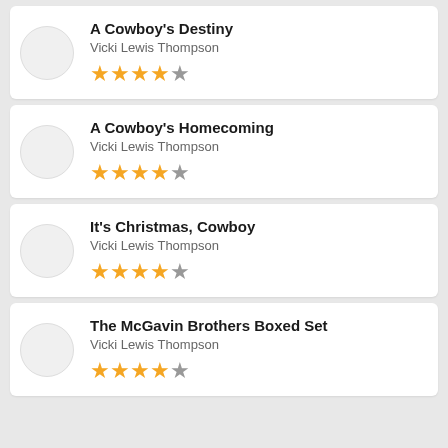A Cowboy's Destiny — Vicki Lewis Thompson — 4.5 stars
A Cowboy's Homecoming — Vicki Lewis Thompson — 4.5 stars
It's Christmas, Cowboy — Vicki Lewis Thompson — 4.5 stars
The McGavin Brothers Boxed Set — Vicki Lewis Thompson — 4.5 stars